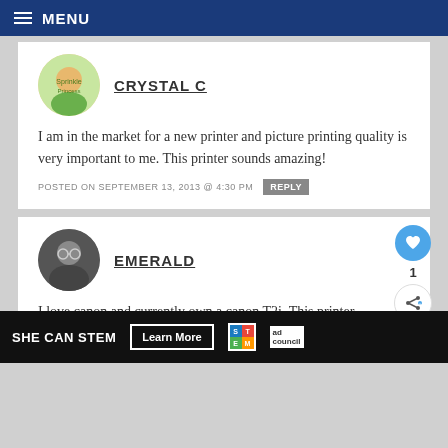MENU
CRYSTAL C
I am in the market for a new printer and picture printing quality is very important to me. This printer sounds amazing!
POSTED ON SEPTEMBER 13, 2013 @ 4:30 PM REPLY
EMERALD
I love canon and currently own a canon T2i. This printer